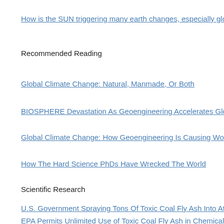How is the SUN triggering many earth changes, especially glob…
Recommended Reading
Global Climate Change: Natural, Manmade, Or Both
BIOSPHERE Devastation As Geoengineering Accelerates Glob…
Global Climate Change: How Geoengineering Is Causing Worl…
How The Hard Science PhDs Have Wrecked The World
Scientific Research
U.S. Government Spraying Tons Of Toxic Coal Fly Ash Into At…
EPA Permits Unlimited Use of Toxic Coal Fly Ash in Chemical…